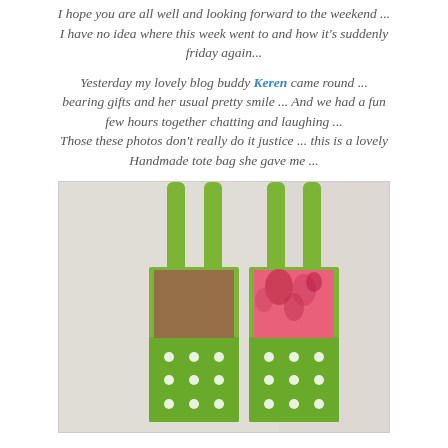I hope you are all well and looking forward to the weekend ... I have no idea where this week went to and how it's suddenly friday again...
Yesterday my lovely blog buddy Keren came round ... bearing gifts and her usual pretty smile ... And we had a fun few hours together chatting and laughing ... Those these photos don't really do it justice ... this is a lovely Handmade tote bag she gave me ...
[Figure (photo): Two green polka-dot handmade tote bags hanging on a white door. The bags have brown and pink/red floral fabric peeking out from inside, with white polka dots on green fabric.]